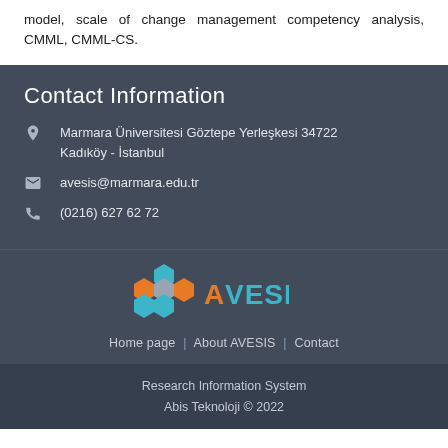model, scale of change management competency analysis, CMML, CMML-CS.
Contact Information
Marmara Üniversitesi Göztepe Yerleşkesi 34722 Kadıköy - İstanbul
avesis@marmara.edu.tr
(0216) 627 62 72
[Figure (logo): AVESIS logo with hexagonal pattern in teal and orange colors]
Home page | About AVESIS | Contact
Research Information System
Abis Teknoloji © 2022